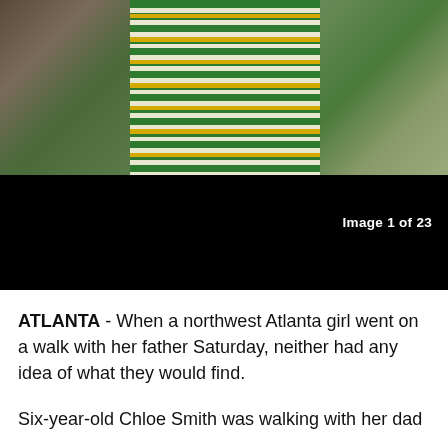[Figure (photo): Outdoor photo showing a large striped bag (green, white, and yellow horizontal stripes) held by a person, with natural greenery and dirt ground visible in the background. The top portion shows the image and the bottom portion is a black bar with image counter overlay.]
Image 1 of 23
ATLANTA - When a northwest Atlanta girl went on a walk with her father Saturday, neither had any idea of what they would find.
Six-year-old Chloe Smith was walking with her dad